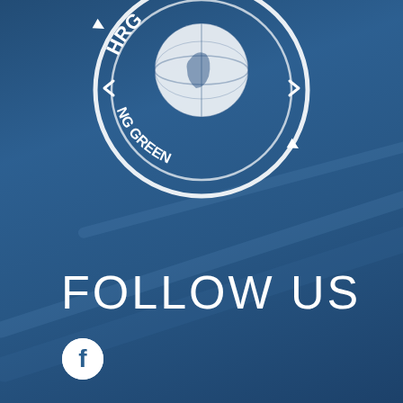[Figure (logo): HRG Going Green circular stamp logo with globe and arrows, white on blue background, positioned at top center of page]
FOLLOW US
[Figure (logo): Facebook circular icon (white F on white circle outline) below FOLLOW US text]